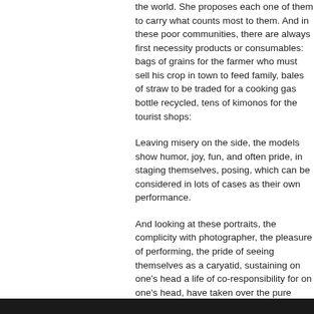the world. She proposes each one of them to carry what counts most to them. And in these poor communities, there are always first necessity products or consumables: bags of grains for the farmer who must sell his crop in town to feed family, bales of straw to be traded for a cooking gas bottle recycled, tens of kimonos for the tourist shops:
Leaving misery on the side, the models show humor, joy, fun, and often pride, in staging themselves, posing, which can be considered in lots of cases as their own performance.
And looking at these portraits, the complicity with photographer, the pleasure of performing, the pride of seeing themselves as a caryatid, sustaining on one's head a life of co-responsibility for on one's head, have taken over the pure tribute and have finally take us onto an odyssey of a rare human quality.